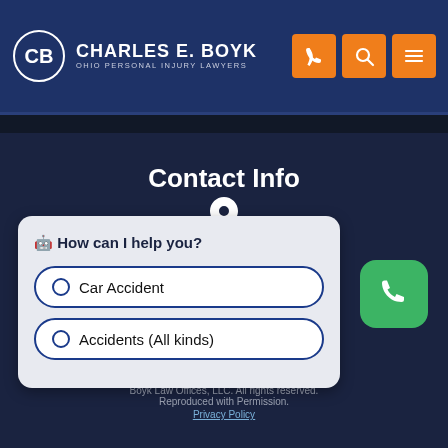[Figure (logo): Charles E. Boyk Ohio Personal Injury Lawyers logo with navigation icons]
Contact Info
7659 Kings Pointe Road Suite B
Toledo Ohio 43617
Get Directions
(419)-845-8535
[Figure (screenshot): Chat popup widget with options: Car Accident, Accidents (All kinds)]
Boyk Law Offices, LLC. All rights reserved.
Reproduced with Permission.
Privacy Policy